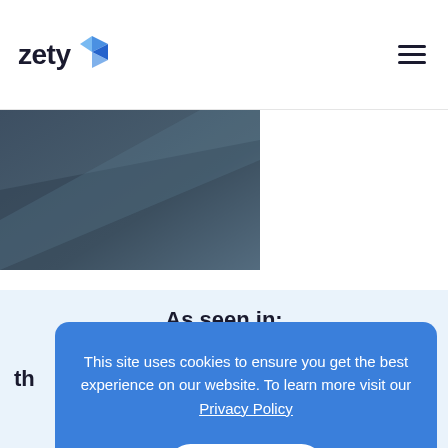[Figure (logo): Zety logo with blue origami-style diamond shape icon next to the word 'zety' in dark bold text]
[Figure (other): Hamburger menu icon (three horizontal lines) in top right corner]
[Figure (photo): Partial photo showing dark blue/grey background, possibly a person in business attire, cut off at lower right]
As seen in:
th
This site uses cookies to ensure you get the best experience on our website. To learn more visit our Privacy Policy
GOT IT!